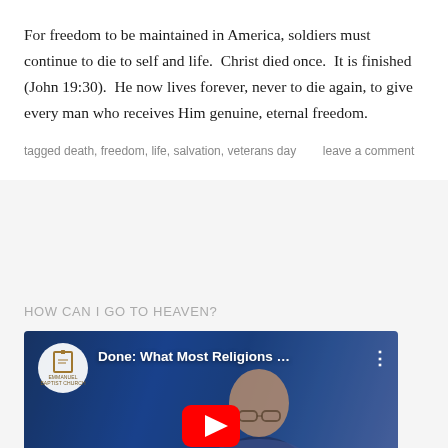For freedom to be maintained in America, soldiers must continue to die to self and life.  Christ died once.  It is finished (John 19:30).  He now lives forever, never to die again, to give every man who receives Him genuine, eternal freedom.
tagged death, freedom, life, salvation, veterans day      leave a comment
HOW CAN I GO TO HEAVEN?
[Figure (screenshot): YouTube video thumbnail showing 'Done: What Most Religions ...' with Emmanuel Baptist Church logo on the left, a person (partially visible, wearing glasses) in the center-right area, and a YouTube play button at the bottom center. Blue background.]